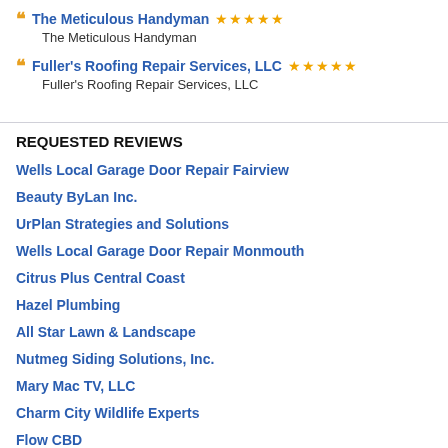The Meticulous Handyman ★★★★★ — The Meticulous Handyman
Fuller's Roofing Repair Services, LLC ★★★★★ — Fuller's Roofing Repair Services, LLC
REQUESTED REVIEWS
Wells Local Garage Door Repair Fairview
Beauty ByLan Inc.
UrPlan Strategies and Solutions
Wells Local Garage Door Repair Monmouth
Citrus Plus Central Coast
Hazel Plumbing
All Star Lawn & Landscape
Nutmeg Siding Solutions, Inc.
Mary Mac TV, LLC
Charm City Wildlife Experts
Flow CBD